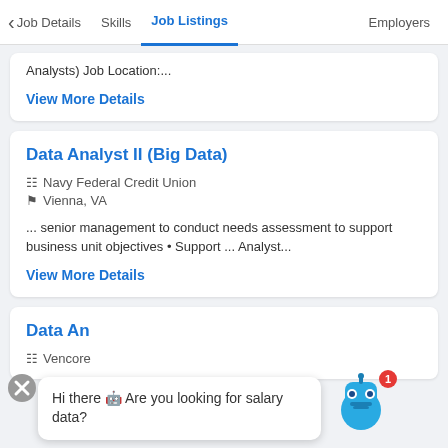< Job Details   Skills   Job Listings   Employers
Analysts) Job Location:...
View More Details
Data Analyst II (Big Data)
Navy Federal Credit Union
Vienna, VA
... senior management to conduct needs assessment to support business unit objectives • Support ... Analyst...
View More Details
Data An
Vencore
Hi there 🤖 Are you looking for salary data?